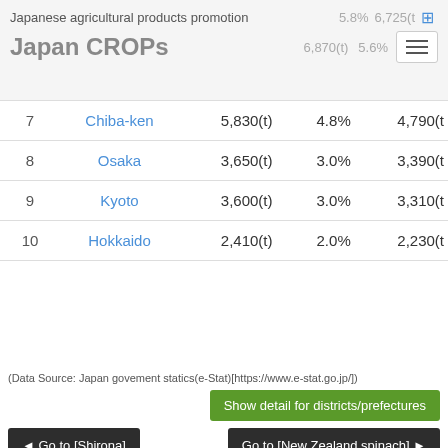Japanese agricultural products promotion | Japan CROPs
| # | Prefecture | Volume | % | Previous |
| --- | --- | --- | --- | --- |
| 7 | Chiba-ken | 5,830(t) | 4.8% | 4,790(t |
| 8 | Osaka | 3,650(t) | 3.0% | 3,390(t |
| 9 | Kyoto | 3,600(t) | 3.0% | 3,310(t |
| 10 | Hokkaido | 2,410(t) | 2.0% | 2,230(t |
(Data Source: Japan govement statics(e-Stat)[https://www.e-stat.go.jp/])
Show detail for districts/prefectures
◄ Go to [Shirona]
Go to [New Zealand spinach] ►
Sponsored Link
Komatsuna - Cultivation condition
PAGETOP ↑
Komatsuna is well grown under the conditions where the temperature is between 20 and 25